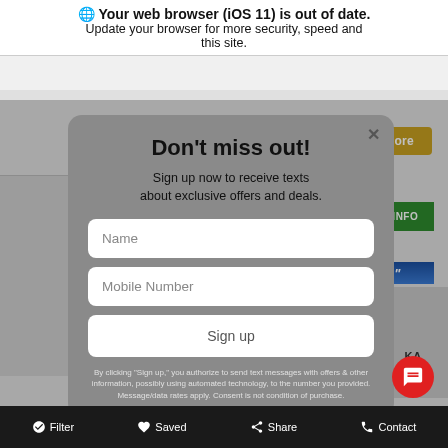🌐 Your web browser (iOS 11) is out of date. Update your browser for more security, speed and this site.
[Figure (screenshot): Modal popup on a car dealership website with browser update warning, 'Don't miss out!' sign-up form, and bottom navigation bar.]
Don't miss out!
Sign up now to receive texts about exclusive offers and deals.
Name
Mobile Number
Sign up
By clicking "Sign up," you authorize to send text messages with offers & other information, possibly using automated technology, to the number you provided. Message/data rates apply. Consent is not condition of purchase.
Filter   Saved   Share   Contact